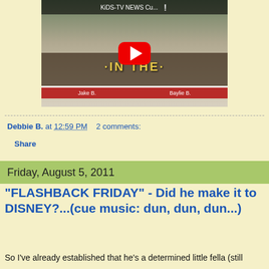[Figure (screenshot): YouTube video thumbnail showing two children at a table with text 'KiDS-TV NEWS Cu...' at top, 'IN THE.' overlay, red play button, and name bars 'Jake B.' and 'Baylie B.' at bottom]
Debbie B. at 12:59 PM   2 comments:
Share
Friday, August 5, 2011
"FLASHBACK FRIDAY" - Did he make it to DISNEY?...(cue music: dun, dun, dun...)
So I've already established that he's a determined little fella (still